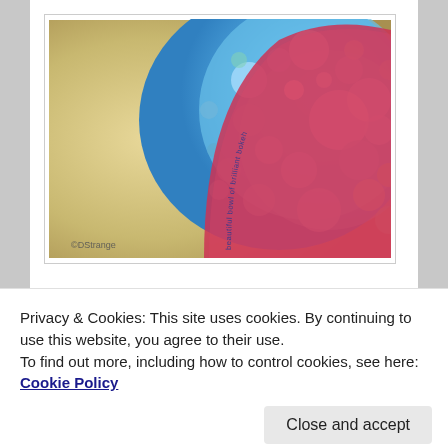[Figure (photo): Close-up macro photograph of a red bowl or cup filled with blue glittery sparkly bokeh material. Text curved along the rim reads 'beautiful bowl of brilliant bokeh'. Watermark '©DStrange' visible in lower left. Left side shows a warm golden/beige blurred background.]
Privacy & Cookies: This site uses cookies. By continuing to use this website, you agree to their use.
To find out more, including how to control cookies, see here: Cookie Policy
Close and accept
creating haiga and tanshi (small poem) art.